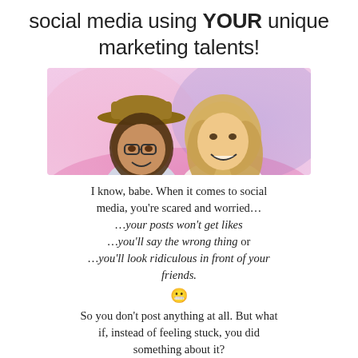social media using YOUR unique marketing talents!
[Figure (photo): Two women smiling and laughing together against a pink and purple watercolor background. The woman on the left wears a tan wide-brim hat and glasses; the woman on the right has long blonde hair.]
I know, babe. When it comes to social media, you're scared and worried… …your posts won't get likes …you'll say the wrong thing or …you'll look ridiculous in front of your friends. 😬 So you don't post anything at all. But what if, instead of feeling stuck, you did something about it?